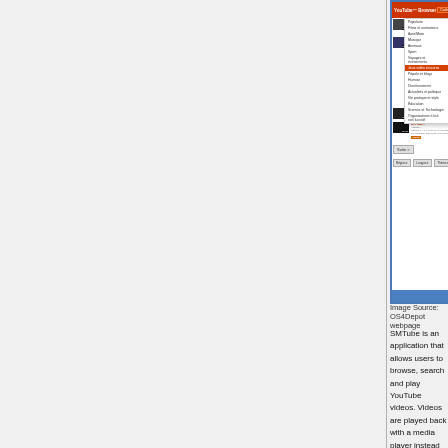[Figure (screenshot): YouTube Browser application screenshot showing a dropdown Categories menu with options including: Populaire, Films et animations, Auto/Moto, Musique, Animaux, Sport, Voyages et événements, Jeux vidéo et autres (highlighted), Pépole et blogs, Humour, Divertissement, Actualités et politique, Vie pratique et style, Éducation, Science et Technologie, Organisations à but non lucratif. Video list visible in background.]
Image Source: OS4Depot webpage
SMTube is an application that allows users to browse, search and play YouTube videos. Videos are played back with a media player instead of a flash player, which allows better performance, particularly with HD content.